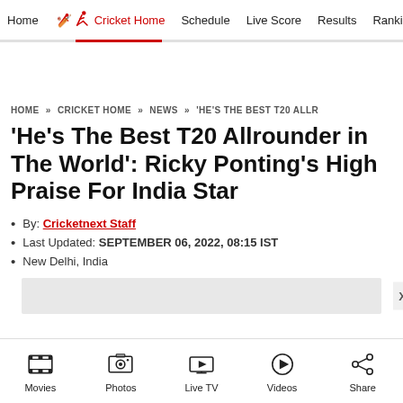Home | Cricket Home | Schedule | Live Score | Results | Ranking
HOME » CRICKET HOME » NEWS » 'HE'S THE BEST T20 ALLR
'He's The Best T20 Allrounder in The World': Ricky Ponting's High Praise For India Star
• By: Cricketnext Staff
• Last Updated: SEPTEMBER 06, 2022, 08:15 IST
• New Delhi, India
Movies | Photos | Live TV | Videos | Share